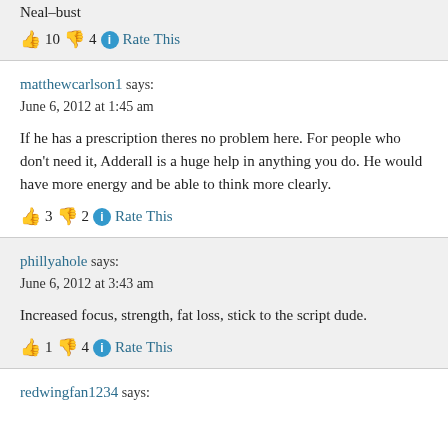Neal-bust
👍 10 👎 4 ℹ Rate This
matthewcarlson1 says:
June 6, 2012 at 1:45 am
If he has a prescription theres no problem here. For people who don't need it, Adderall is a huge help in anything you do. He would have more energy and be able to think more clearly.
👍 3 👎 2 ℹ Rate This
phillyahole says:
June 6, 2012 at 3:43 am
Increased focus, strength, fat loss, stick to the script dude.
👍 1 👎 4 ℹ Rate This
redwingfan1234 says: